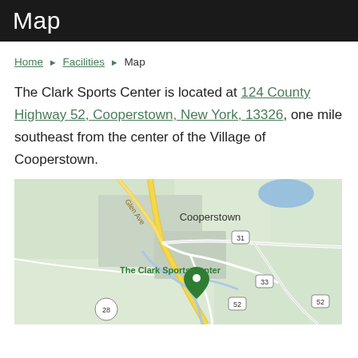Map
Home ▶ Facilities ▶ Map
The Clark Sports Center is located at 124 County Highway 52, Cooperstown, New York, 13326, one mile southeast from the center of the Village of Cooperstown.
[Figure (map): Google Map showing The Clark Sports Center location at Cooperstown, New York, with a green pin marker, surrounding roads including routes 28, 31, 33, 52, and Glen Ave, the Cooperstown town label, and a small blue river/stream.]